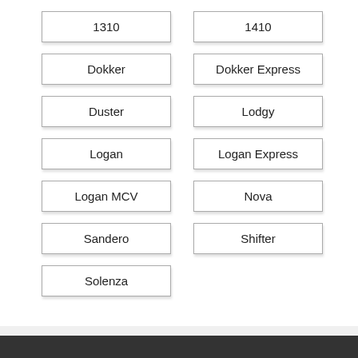1310
1410
Dokker
Dokker Express
Duster
Lodgy
Logan
Logan Express
Logan MCV
Nova
Sandero
Shifter
Solenza